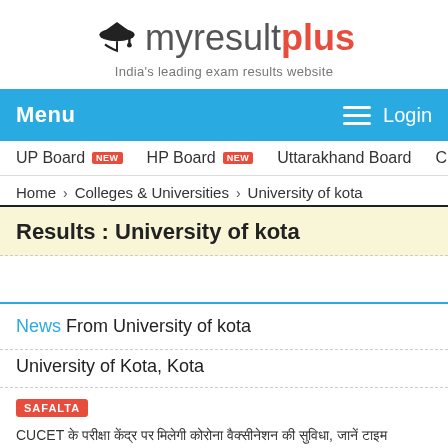[Figure (logo): myresultplus logo with graduation cap icon and tagline 'India's leading exam results website']
Menu  Login
UP Board NEW  HP Board NEW  Uttarakhand Board  CBSE Board
Home › Colleges & Universities › University of kota
Results : University of kota
News From University of kota
University of Kota, Kota
SAFALTA
CUCET के परीक्षा केंद्र पर मिलेगी कोरोना वैक्सीनेशन की सुविधा, जानें टाइम